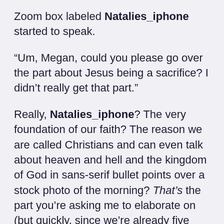Zoom box labeled Natalies_iphone started to speak.
“Um, Megan, could you please go over the part about Jesus being a sacrifice? I didn’t really get that part.”
Really, Natalies_iphone? The very foundation of our faith? The reason we are called Christians and can even talk about heaven and hell and the kingdom of God in sans-serif bullet points over a stock photo of the morning? That’s the part you’re asking me to elaborate on (but quickly, since we’re already five minutes over schedule and Ethan has to sign off to go to basketball)? So much to say, but all OMG, how so f